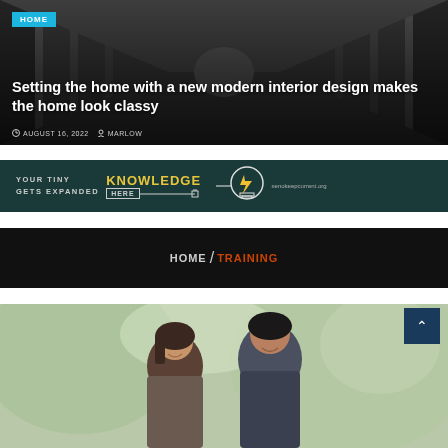[Figure (photo): Hero image of a modern interior hallway/corridor with dark tones. Overlaid with HOME badge, article title, date and author metadata.]
Setting the home with a new modern interior design makes the home look classy
AUGUST 16, 2022  MARLOW
[Figure (advertisement): Dark teal banner ad: YOUR TINY KNOWLEDGE GETS EXPANDED HERE with lightbulb graphic and domain name senokeepcurrent.org]
HOME / TRAINING
[Figure (photo): Photo of two people smiling and looking at each other outdoors with blurred green background]